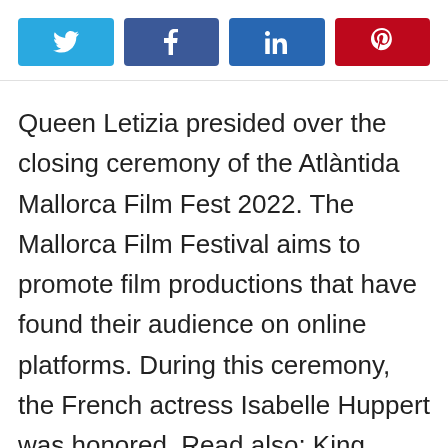[Figure (other): Social media share buttons: Twitter (blue), Facebook (dark blue), LinkedIn (dark blue), Pinterest (red)]
Queen Letizia presided over the closing ceremony of the Atlàntida Mallorca Film Fest 2022. The Mallorca Film Festival aims to promote film productions that have found their audience on online platforms. During this ceremony, the French actress Isabelle Huppert was honored. Read also: King Felipe takes advantage of